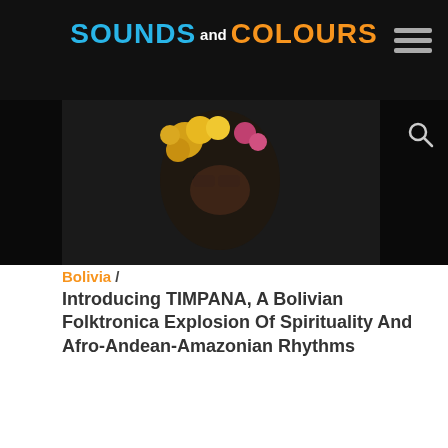SOUNDS and COLOURS
[Figure (photo): Partial view of a person in colorful costume/makeup with yellow flowers, against a dark background]
Bolivia / Introducing TIMPANA, A Bolivian Folktronica Explosion Of Spirituality And Afro-Andean-Amazonian Rhythms